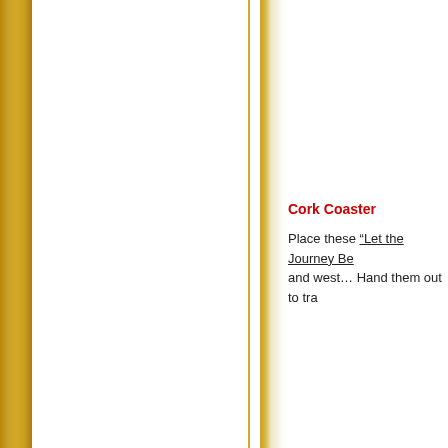Cork Coaster
Place these “Let the Journey Be and west… Hand them out to tra